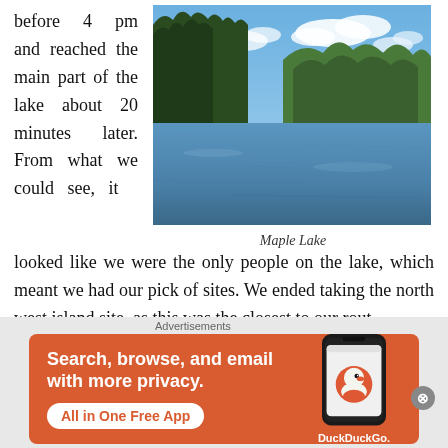before 4 pm and reached the main part of the lake about 20 minutes later. From what we could see, it
[Figure (photo): Photograph of Maple Lake showing calm water reflecting sky, surrounded by evergreen and deciduous trees on hillsides, with a partly cloudy blue sky above.]
Maple Lake
looked like we were the only people on the lake, which meant we had our pick of sites. We ended taking the north west island site, as this was the closest to our rout
Advertisements
[Figure (screenshot): DuckDuckGo advertisement banner with orange background. Text reads: Search, browse, and email with more privacy. All in One Free App. Shows a phone with DuckDuckGo app icon and DuckDuckGo. logo.]